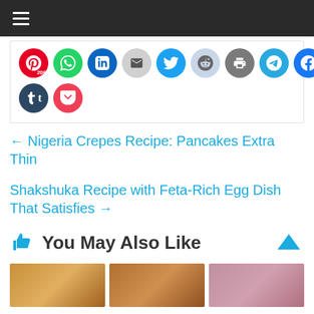Navigation menu bar
[Figure (screenshot): Social media share buttons row: Pinterest (206), WhatsApp, LinkedIn, Email, Twitter, Reddit, Print, Telegram, Facebook, Skype, Tumblr, Pocket]
← Nigeria Crepes Recipe: Pancakes Extra Thin
Shakshuka Recipe with Feta-Rich Egg Dish That Satisfies →
You May Also Like
[Figure (photo): Three food thumbnail images at the bottom of the page]